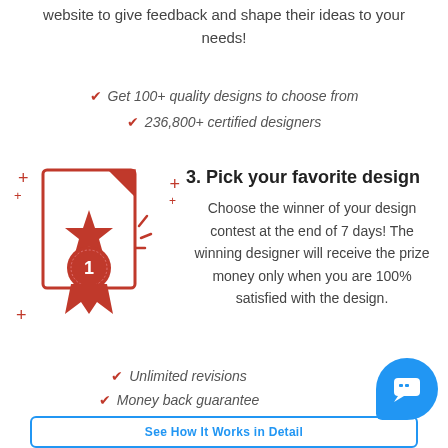website to give feedback and shape their ideas to your needs!
Get 100+ quality designs to choose from
236,800+ certified designers
[Figure (illustration): Red illustration of a document with a star and a number 1 ribbon/medal badge, with decorative plus signs around it]
3. Pick your favorite design
Choose the winner of your design contest at the end of 7 days! The winning designer will receive the prize money only when you are 100% satisfied with the design.
Unlimited revisions
Money back guarantee
See How It Works in Detail